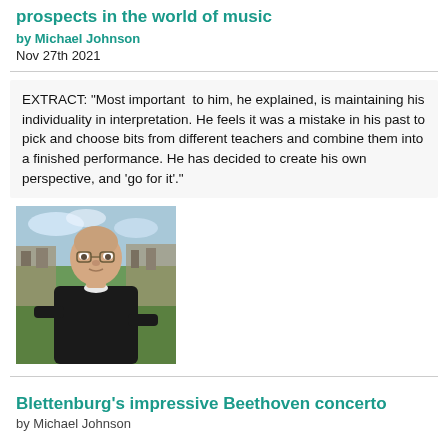prospects in the world of music
by Michael Johnson
Nov 27th 2021
EXTRACT: "Most important  to him, he explained, is maintaining his individuality in interpretation. He feels it was a mistake in his past to pick and choose bits from different teachers and combine them into a finished performance. He has decided to create his own perspective, and 'go for it'."
[Figure (photo): Outdoor photo of an elderly bald man wearing glasses and a black sweater, standing in front of stone ruins with greenery in the background.]
Blettenburg's impressive Beethoven concerto
by Michael Johnson